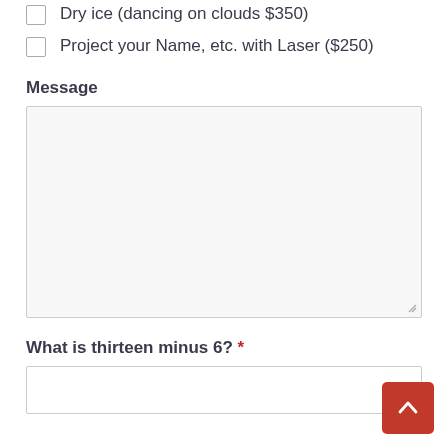Dry ice (dancing on clouds $350)
Project your Name, etc. with Laser ($250)
Message
[Message textarea - empty]
What is thirteen minus 6? *
[Answer input field]